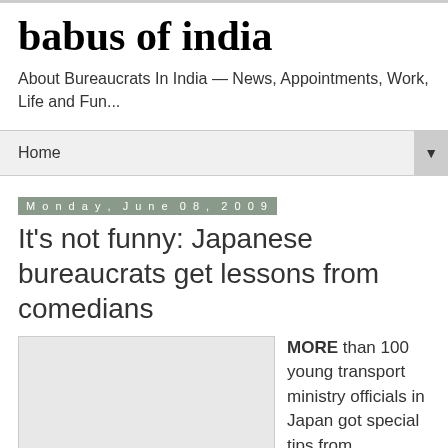babus of india
About Bureaucrats In India — News, Appointments, Work, Life and Fun...
Home ▼
Monday, June 08, 2009
It's not funny: Japanese bureaucrats get lessons from comedians
[Figure (photo): Image placeholder for article photo]
MORE than 100 young transport ministry officials in Japan got special tips from professional comedians last week as a part of